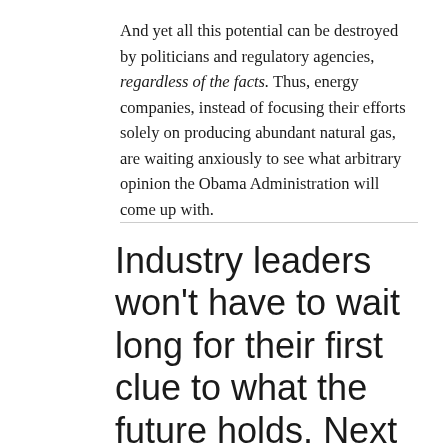And yet all this potential can be destroyed by politicians and regulatory agencies, regardless of the facts. Thus, energy companies, instead of focusing their efforts solely on producing abundant natural gas, are waiting anxiously to see what arbitrary opinion the Obama Administration will come up with.
Industry leaders won't have to wait long for their first clue to what the future holds. Next month, the Environmental Protection Agency is expected to release a draft of its long-awaited report on suspected links between water pollution